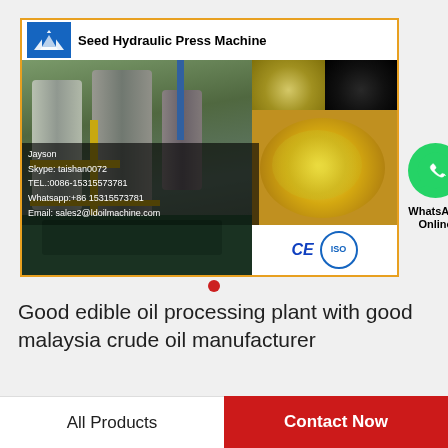[Figure (photo): Product advertisement image for Seed Hydraulic Press Machine showing industrial oil extraction machinery, seeds (soybeans, black beans, green seeds), and a bowl of oil. Includes company contact info overlay and CE/ISO certification badges. WhatsApp Online icon visible.]
Good edible oil processing plant with good malaysia crude oil manufacturer
All Products
Contact Now